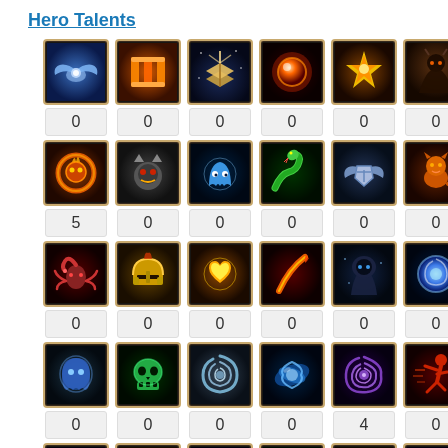Hero Talents
[Figure (infographic): Grid of 30 hero talent icons arranged in 5 rows of 6, each with a count value below. Row 1 counts: 0,0,0,0,0,0. Row 2 counts: 5,0,0,0,0,0. Row 3 counts: 0,0,0,0,0,0. Row 4 counts: 0,0,0,4,0. Wait - Row 4: 0,0,0,0,4,0. Row 5 counts: 0,0,0,0,6,0.]